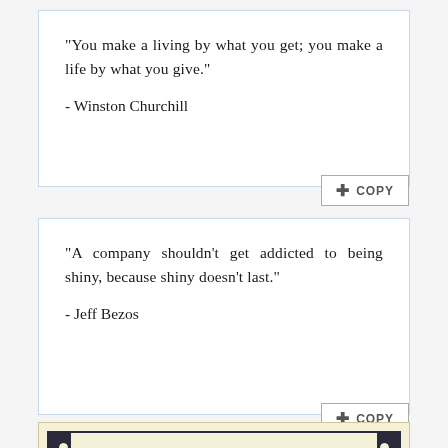"You make a living by what you get; you make a life by what you give."
- Winston Churchill
"A company shouldn't get addicted to being shiny, because shiny doesn't last."
- Jeff Bezos
[Figure (logo): Treasure Quotes logo with decorative border and crown icon]